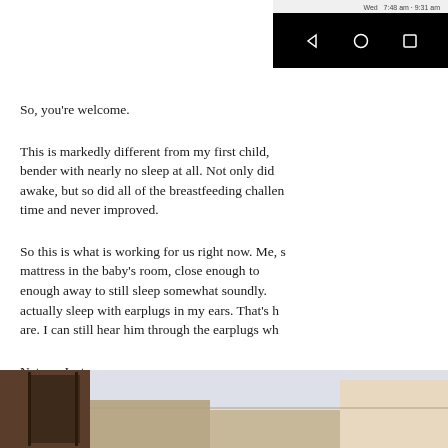[Figure (screenshot): Android status bar and navigation bar showing time 7:48 am - 9:31 am on Wed, with back, home, and recents buttons]
So, you're welcome.
This is markedly different from my first child, bender with nearly no sleep at all. Not only did awake, but so did all of the breastfeeding challen time and never improved.
So this is what is working for us right now. Me, s mattress in the baby's room, close enough to enough away to still sleep somewhat soundly. actually sleep with earplugs in my ears. That's h are. I can still hear him through the earplugs wh
Nature. Just wow.
[Figure (photo): Partial photo showing what appears to be a room interior with some furniture or objects visible]